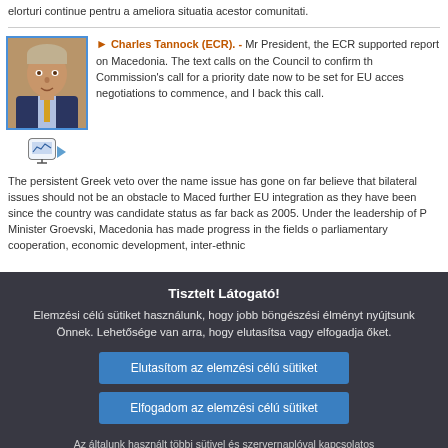elorturi continue pentru a ameliora situatia acestor comunitati.
[Figure (photo): Portrait photo of Charles Tannock MEP with video icon below]
Charles Tannock (ECR). - Mr President, the ECR supported report on Macedonia. The text calls on the Council to confirm the Commission's call for a priority date now to be set for EU accession negotiations to commence, and I back this call.
The persistent Greek veto over the name issue has gone on far believe that bilateral issues should not be an obstacle to Macedonia further EU integration as they have been since the country was candidate status as far back as 2005. Under the leadership of P Minister Groevski, Macedonia has made progress in the fields of parliamentary cooperation, economic development, inter-ethnic
Tisztelt Látogató!
Elemzési célú sütiket használunk, hogy jobb böngészési élményt nyújtsunk Önnek. Lehetősége van arra, hogy elutasítsa vagy elfogadja őket.
Elutasítom az elemzési célú sütiket
Elfogadom az elemzési célú sütiket
Az általunk használt többi sütivel és szervernaplóval kapcsolatos információkért, kérjük, olvassa el adatvédelmi szabályzatunkat , sütikre vonatkozó szabályzatunkat és sütijegyzékünket.